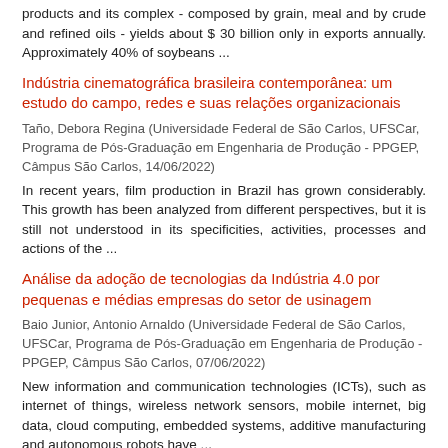products and its complex - composed by grain, meal and by crude and refined oils - yields about $ 30 billion only in exports annually. Approximately 40% of soybeans ...
Indústria cinematográfica brasileira contemporânea: um estudo do campo, redes e suas relações organizacionais
Taño, Debora Regina (Universidade Federal de São Carlos, UFSCar, Programa de Pós-Graduação em Engenharia de Produção - PPGEP, Câmpus São Carlos, 14/06/2022)
In recent years, film production in Brazil has grown considerably. This growth has been analyzed from different perspectives, but it is still not understood in its specificities, activities, processes and actions of the ...
Análise da adoção de tecnologias da Indústria 4.0 por pequenas e médias empresas do setor de usinagem
Baio Junior, Antonio Arnaldo (Universidade Federal de São Carlos, UFSCar, Programa de Pós-Graduação em Engenharia de Produção - PPGEP, Câmpus São Carlos, 07/06/2022)
New information and communication technologies (ICTs), such as internet of things, wireless network sensors, mobile internet, big data, cloud computing, embedded systems, additive manufacturing and autonomous robots have ...